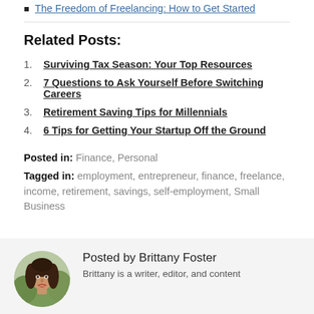The Freedom of Freelancing: How to Get Started
Related Posts:
1. Surviving Tax Season: Your Top Resources
2. 7 Questions to Ask Yourself Before Switching Careers
3. Retirement Saving Tips for Millennials
4. 6 Tips for Getting Your Startup Off the Ground
Posted in: Finance, Personal
Tagged in: employment, entrepreneur, finance, freelance, income, retirement, savings, self-employment, Small Business
Posted by Brittany Foster
Brittany is a writer, editor, and content